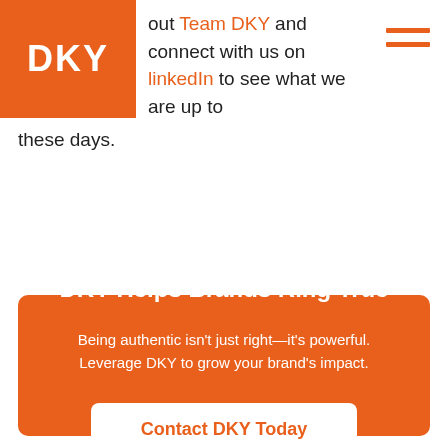DKY | out Team DKY and connect with us on LinkedIn to see what we are up to these days.
these days.
DKY Helps Brands Ring True
Being authentic isn't just right—it's powerful. Leverage DKY to grow your brand's impact.
Contact DKY Today